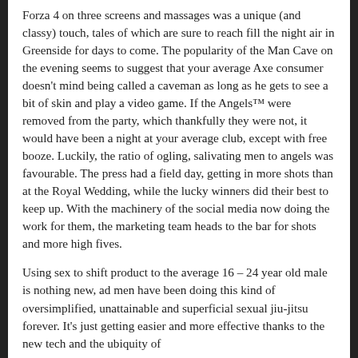Forza 4 on three screens and massages was a unique (and classy) touch, tales of which are sure to reach fill the night air in Greenside for days to come. The popularity of the Man Cave on the evening seems to suggest that your average Axe consumer doesn't mind being called a caveman as long as he gets to see a bit of skin and play a video game. If the Angels™ were removed from the party, which thankfully they were not, it would have been a night at your average club, except with free booze. Luckily, the ratio of ogling, salivating men to angels was favourable. The press had a field day, getting in more shots than at the Royal Wedding, while the lucky winners did their best to keep up. With the machinery of the social media now doing the work for them, the marketing team heads to the bar for shots and more high fives.
Using sex to shift product to the average 16 – 24 year old male is nothing new, ad men have been doing this kind of oversimplified, unattainable and superficial sexual jiu-jitsu forever. It's just getting easier and more effective thanks to the new tech and the ubiquity of